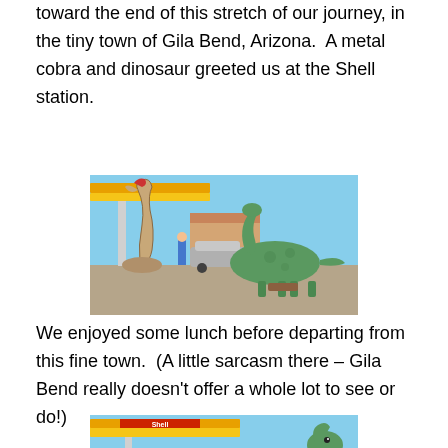toward the end of this stretch of our journey, in the tiny town of Gila Bend, Arizona.  A metal cobra and dinosaur greeted us at the Shell station.
[Figure (photo): Photo of a metal cobra statue and a green dinosaur statue in front of a Shell gas station in Gila Bend, Arizona. A silver car and a person are visible in the background.]
We enjoyed some lunch before departing from this fine town.  (A little sarcasm there – Gila Bend really doesn't offer a whole lot to see or do!)
[Figure (photo): Partial photo of a Shell gas station canopy with yellow and red Shell logo visible, and a green dinosaur statue visible on the right side.]